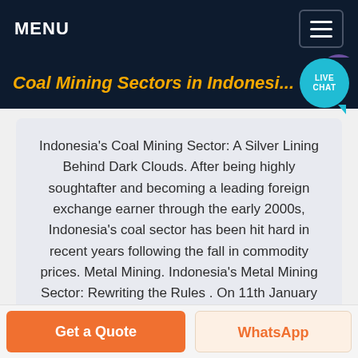MENU
Coal Mining Sectors in Indonesi...
Indonesia's Coal Mining Sector: A Silver Lining Behind Dark Clouds. After being highly soughtafter and becoming a leading foreign exchange earner through the early 2000s, Indonesia's coal sector has been hit hard in recent years following the fall in commodity prices. Metal Mining. Indonesia's Metal Mining Sector: Rewriting the Rules . On 11th January 2017, the Indonesian .
Get a Quote | WhatsApp